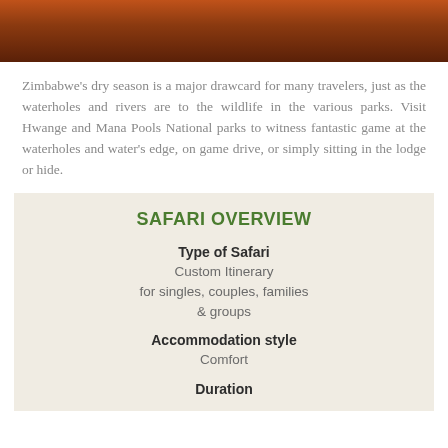[Figure (photo): Photo of wildlife scene with warm orange/red tones, partially cropped at top of page]
Zimbabwe's dry season is a major drawcard for many travelers, just as the waterholes and rivers are to the wildlife in the various parks. Visit Hwange and Mana Pools National parks to witness fantastic game at the waterholes and water's edge, on game drive, or simply sitting in the lodge or hide.
SAFARI OVERVIEW
Type of Safari
Custom Itinerary for singles, couples, families & groups
Accommodation style
Comfort
Duration